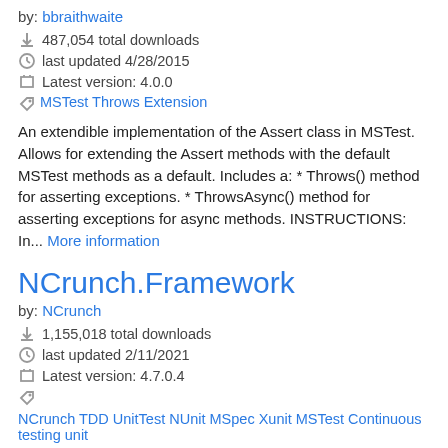by: bbraithwaite
487,054 total downloads
last updated 4/28/2015
Latest version: 4.0.0
MSTest Throws Extension
An extendible implementation of the Assert class in MSTest. Allows for extending the Assert methods with the default MSTest methods as a default. Includes a: * Throws() method for asserting exceptions. * ThrowsAsync() method for asserting exceptions for async methods. INSTRUCTIONS: In... More information
NCrunch.Framework
by: NCrunch
1,155,018 total downloads
last updated 2/11/2021
Latest version: 4.7.0.4
NCrunch TDD UnitTest NUnit MSpec Xunit MSTest Continuous testing unit
NCrunch.Framework is a run-time library for NCrunch